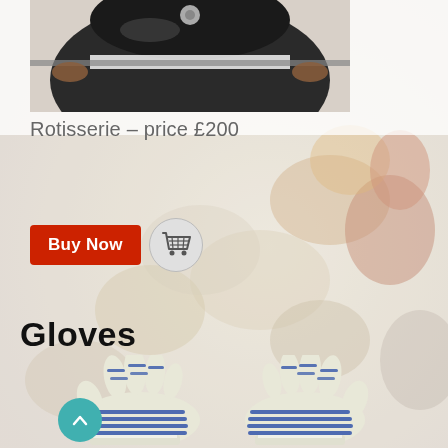[Figure (photo): Top portion showing a dark kamado-style grill rotisserie accessory against white background, partially visible at top of page]
Rotisserie – price £200
[Figure (photo): Red 'Buy Now' button with grey shopping cart icon button]
[Figure (photo): Background photo of grilled skewered meats and vegetables on barbecue grill]
Gloves
[Figure (photo): A pair of heat-resistant BBQ gloves with blue and white stripe pattern and silicone grip dots on fingers, placed on the background]